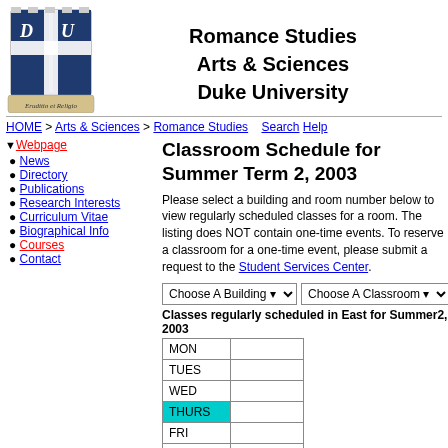Romance Studies Arts & Sciences Duke University
HOME > Arts & Sciences > Romance Studies  Search Help
Classroom Schedule for Summer Term 2, 2003
Webpage
News
Directory
Publications
Research Interests
Curriculum Vitae
Biographical Info
Courses
Contact
Please select a building and room number below to view regularly scheduled classes for a room. The listing does NOT contain one-time events. To reserve a classroom for a one-time event, please submit a request to the Student Services Center.
| Day |  |
| --- | --- |
| MON |  |
| TUES |  |
| WED |  |
| THURS |  |
| FRI |  |
| SAT |  |